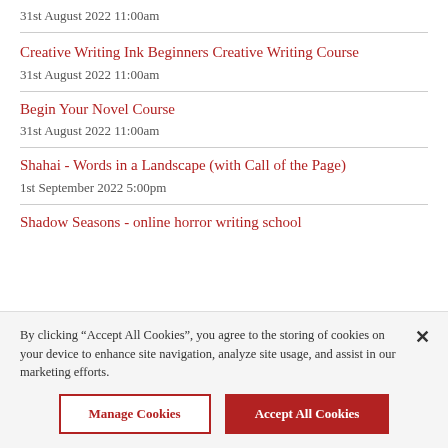31st August 2022 11:00am
Creative Writing Ink Beginners Creative Writing Course
31st August 2022 11:00am
Begin Your Novel Course
31st August 2022 11:00am
Shahai - Words in a Landscape (with Call of the Page)
1st September 2022 5:00pm
Shadow Seasons - online horror writing school
By clicking “Accept All Cookies”, you agree to the storing of cookies on your device to enhance site navigation, analyze site usage, and assist in our marketing efforts.